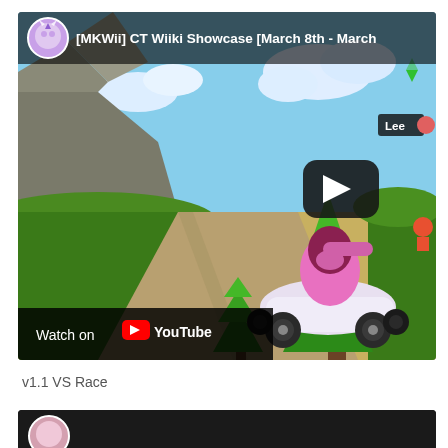[Figure (screenshot): YouTube video embed showing Mario Kart Wii gameplay. Title bar reads '[MKWii] CT Wiiki Showcase [March 8th - March...' with a channel avatar (unicorn character). The scene shows a race track with a pink kart character, green trees, rocky cliff, and sandy road. A play button overlay is visible. A 'Lee' name badge appears in the top-right. A 'Watch on YouTube' button is in the bottom-left corner.]
v1.1 VS Race
[Figure (screenshot): Partial second YouTube video embed visible at bottom of page, showing only the top portion with a character avatar.]